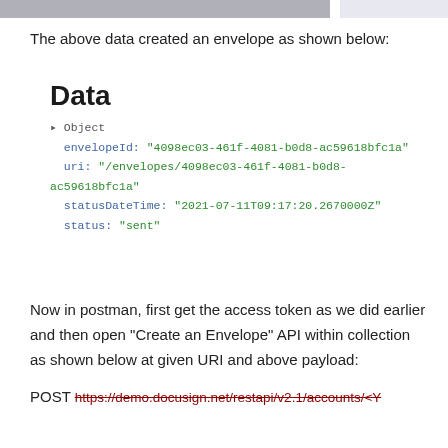The above data created an envelope as shown below:
Data
• Object
  envelopeId: "4098ec03-461f-4081-b0d8-ac59618bfc1a"
  uri: "/envelopes/4098ec03-461f-4081-b0d8-ac59618bfc1a"
  statusDateTime: "2021-07-11T09:17:20.2670000Z"
  status: "sent"
Now in postman, first get the access token as we did earlier and then open “Create an Envelope” API within collection as shown below at given URI and above payload:
POST https://demo.docusign.net/restapi/v2.1/accounts/<Y
[Figure (infographic): Pure Earth advertisement banner: 'We believe the global pollution crisis can be solved.' with JOIN US call to action and Pure Earth logo]
Translate »